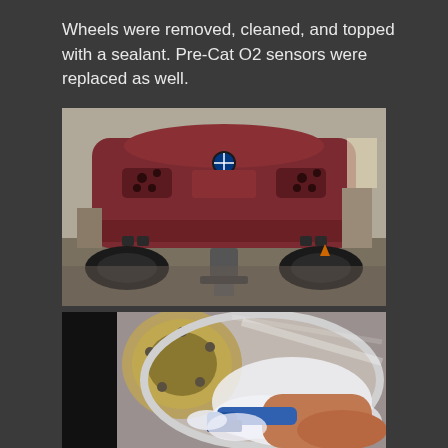Wheels were removed, cleaned, and topped with a sealant. Pre-Cat O2 sensors were replaced as well.
[Figure (photo): Rear view of a red BMW car lifted on a jack in a garage, with wheels removed and exhaust pipes visible]
[Figure (photo): Close-up of a person's hand cleaning a car wheel/rim with a blue brush and soapy foam]